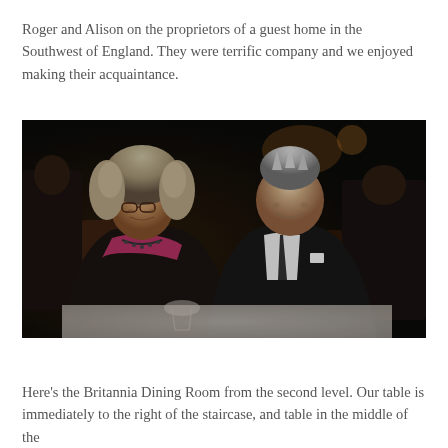Roger and Alison on the proprietors of a guest home in the Southwest of England. They were terrific company and we enjoyed making their acquaintance.
[Figure (photo): A couple seated at a dining table in a dark restaurant setting. The woman on the left has curly gray-blonde hair, glasses, and is wearing a black jacket over a colorful floral top with a necklace. The man on the right has short gray spiked hair and is wearing a dark suit with a black tie and white pocket square. They are smiling at the camera.]
Here's the Britannia Dining Room from the second level. Our table is immediately to the right of the staircase, and table in the middle of the